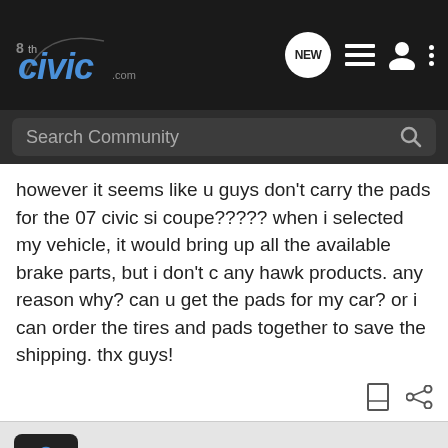8thCivic.com — Search Community
however it seems like u guys don't carry the pads for the 07 civic si coupe????? when i selected my vehicle, it would bring up all the available brake parts, but i don't c any hawk products. any reason why? can u get the pads for my car? or i can order the tires and pads together to save the shipping. thx guys!
954K20_SI · Registered
Joined Jan 15, 2006 · 1,465 Posts
#2 · Oct 26, 2007
I have Hawk HPS + great pads! Work well for street and track! Just get ready for all the dust they produce.